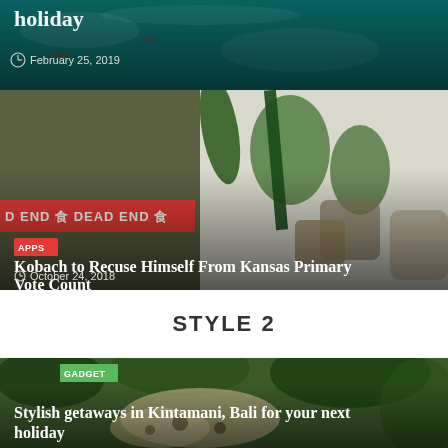[Figure (photo): Aerial ocean/holiday scene with partial title 'holiday' and date February 25, 2019]
[Figure (photo): Indoor plants scene with DEAD END banner overlay, APPS category badge, article title and date]
STYLE 2
[Figure (photo): Aerial jungle/river scene in Kintamani, Bali with GADGET badge and article title]